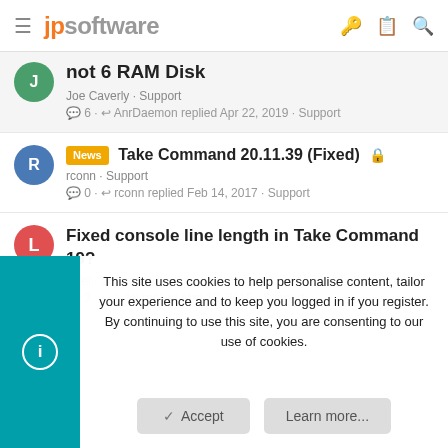jpsoftware
not 6 RAM Disk
Joe Caverly · Support
6 · AnrDaemon replied Apr 22, 2019 · Support
News Take Command 20.11.39 (Fixed)
rconn · Support
0 · rconn replied Feb 14, 2017 · Support
Fixed console line length in Take Command 19?
leifel · Support
3 · leifel replied Mar 18, 2019 · Support
This site uses cookies to help personalise content, tailor your experience and to keep you logged in if you register.
By continuing to use this site, you are consenting to our use of cookies.
Accept   Learn more...